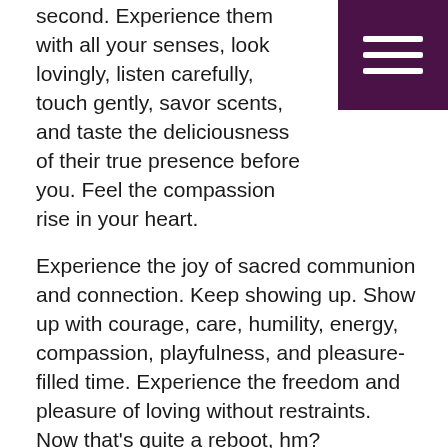[Figure (other): Dark purple hamburger menu button in top-right corner with three white horizontal lines]
second. Experience them with all your senses, look lovingly, listen carefully, touch gently, savor scents, and taste the deliciousness of their true presence before you. Feel the compassion rise in your heart.
Experience the joy of sacred communion and connection. Keep showing up. Show up with courage, care, humility, energy, compassion, playfulness, and pleasure-filled time. Experience the freedom and pleasure of loving without restraints. Now that's quite a reboot, hm?
This article was also published in The Brick Magazine.
Category: Uncategorized